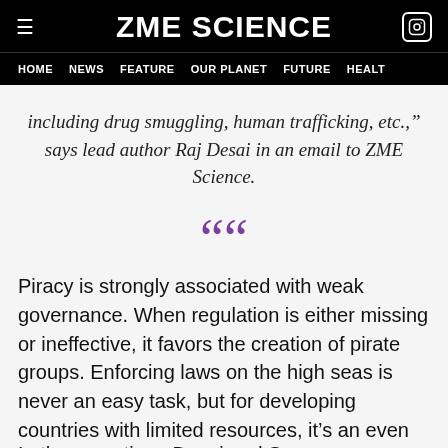ZME SCIENCE
HOME | NEWS | FEATURE | OUR PLANET | FUTURE | HEALT
including drug smuggling, human trafficking, etc.,” says lead author Raj Desai in an email to ZME Science.
““
Piracy is strongly associated with weak governance. When regulation is either missing or ineffective, it favors the creation of pirate groups. Enforcing laws on the high seas is never an easy task, but for developing countries with limited resources, it’s an even tougher challenge.
In the meantime, Desai and S...